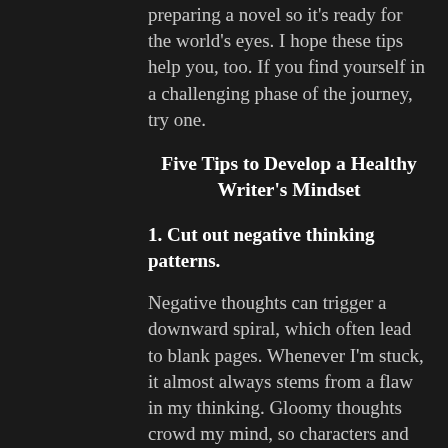preparing a novel so it's ready for the world's eyes. I hope these tips help you, too. If you find yourself in a challenging phase of the journey, try one.
Five Tips to Develop a Healthy Writer's Mindset
1. Cut out negative thinking patterns.
Negative thoughts can trigger a downward spiral, which often lead to blank pages. Whenever I'm stuck, it almost always stems from a flaw in my thinking. Gloomy thoughts crowd my mind, so characters and pivotal plot points can't flourish.